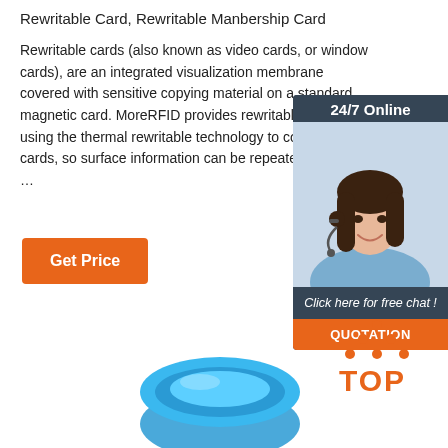Rewritable Card, Rewritable Manbership Card
Rewritable cards (also known as video cards, or window cards), are an integrated visualization membrane covered with sensitive copying material on a standard magnetic card. MoreRFID provides rewritable cards using the thermal rewritable technology to cover the cards, so surface information can be repeatedly erased …
Get Price
[Figure (photo): Chat widget with 24/7 Online header, woman with headset photo, Click here for free chat text, and QUOTATION button]
[Figure (logo): TOP logo with orange dots forming a triangle above the word TOP]
[Figure (photo): Blue RFID wristband product image at the bottom of the page]